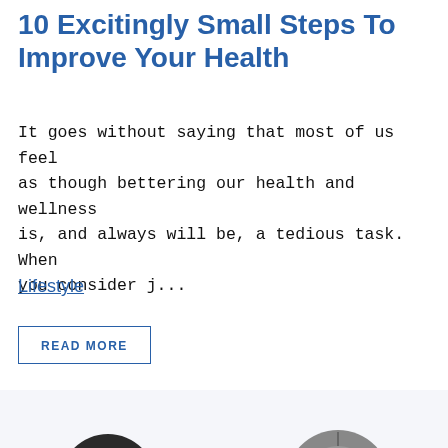10 Excitingly Small Steps To Improve Your Health
It goes without saying that most of us feel as though bettering our health and wellness is, and always will be, a tedious task. When you consider j...
Lifestyle
READ MORE
[Figure (illustration): 3D illustration of a brain lifting a barbell with weights on both ends]